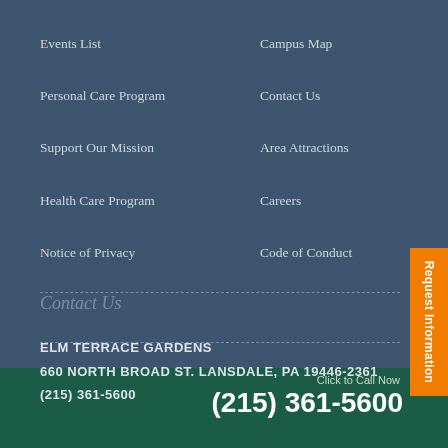Events List
Campus Map
Personal Care Program
Contact Us
Support Our Mission
Area Attractions
Health Care Program
Careers
Notice of Privacy
Code of Conduct
Contact Us
ELM TERRACE GARDENS
660 NORTH BROAD ST. LANSDALE, PA 19446-2361
(215) 361-5600
Request Information
Click to Call Now
(215) 361-5600